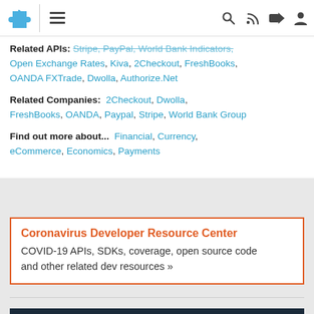Navigation header with logo, menu, search, RSS, share, and user icons
Related APIs: Stripe, PayPal, World Bank Indicators, Open Exchange Rates, Kiva, 2Checkout, FreshBooks, OANDA FXTrade, Dwolla, Authorize.Net
Related Companies: 2Checkout, Dwolla, FreshBooks, OANDA, Paypal, Stripe, World Bank Group
Find out more about... Financial, Currency, eCommerce, Economics, Payments
Coronavirus Developer Resource Center
COVID-19 APIs, SDKs, coverage, open source code and other related dev resources »
[Figure (logo): API University banner with shield logo and white text on dark navy background]